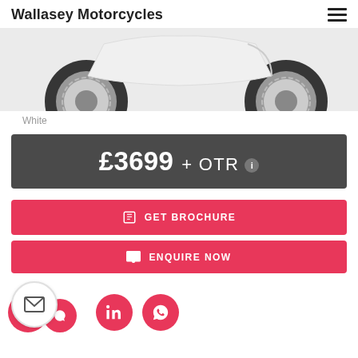Wallasey Motorcycles
[Figure (photo): Partial view of a white scooter/motorcycle showing wheels and lower body on a light grey background]
White
£3699 + OTR ℹ
GET BROCHURE
ENQUIRE NOW
[Figure (other): Social media contact icons: email (white circle), and red circles for another service, LinkedIn, and WhatsApp]